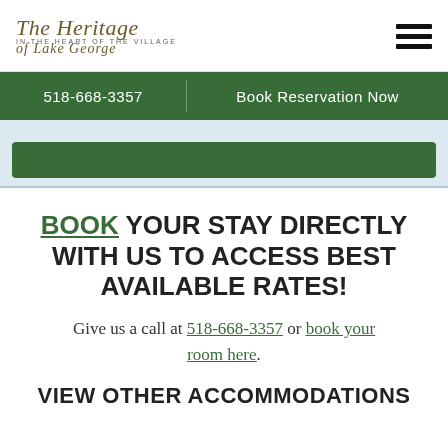The Heritage of Lake George — IN THE HEART OF THE VILLAGE
518-668-3357
Book Reservation Now
BOOK YOUR STAY DIRECTLY WITH US TO ACCESS BEST AVAILABLE RATES!
Give us a call at 518-668-3357 or book your room here.
VIEW OTHER ACCOMMODATIONS